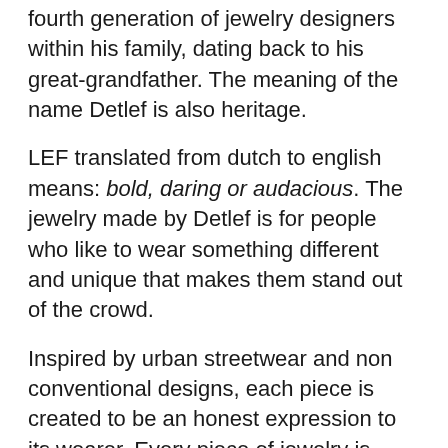fourth generation of jewelry designers within his family, dating back to his great-grandfather. The meaning of the name Detlef is also heritage.
LEF translated from dutch to english means: bold, daring or audacious. The jewelry made by Detlef is for people who like to wear something different and unique that makes them stand out of the crowd.
Inspired by urban streetwear and non conventional designs, each piece is created to be an honest expression to its wearer. Every piece of jewelry is made by hand and is finished using artisan technique. This ensures that every piece is unique and of the highest quality. In spite of all this detailed precision, the